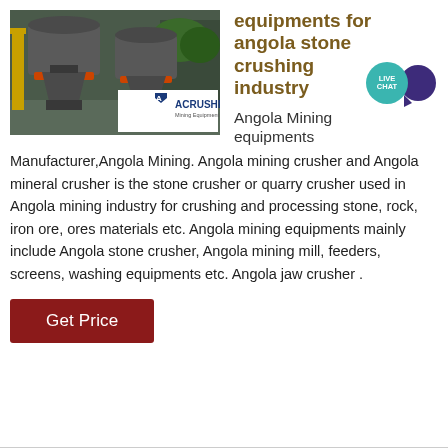[Figure (photo): Industrial stone crushing machines (cone crushers) in a factory/mining setting with ACRUSHER Mining Equipment logo overlay]
equipments for angola stone crushing industry
[Figure (other): Live Chat badge: teal circle with LIVE CHAT text and dark purple speech bubble]
Angola Mining equipments
Manufacturer,Angola Mining. Angola mining crusher and Angola mineral crusher is the stone crusher or quarry crusher used in Angola mining industry for crushing and processing stone, rock, iron ore, ores materials etc. Angola mining equipments mainly include Angola stone crusher, Angola mining mill, feeders, screens, washing equipments etc. Angola jaw crusher .
Get Price